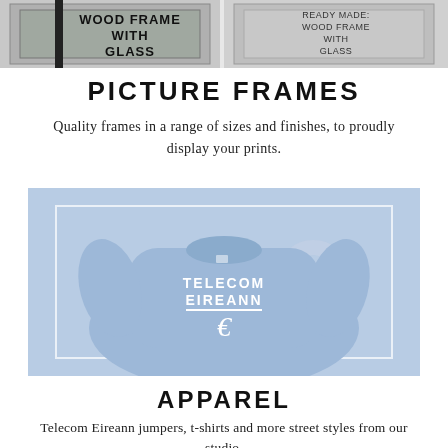[Figure (photo): Top strip showing picture frames with text 'WOOD FRAME WITH GLASS' and 'READY MADE WOOD FRAME WITH GLASS' overlaid on frame product images]
PICTURE FRAMES
Quality frames in a range of sizes and finishes, to proudly display your prints.
[Figure (photo): Light blue sweatshirt with Telecom Eireann logo and text on front, displayed against a background showing a large faded Telecom Eireann logo]
APPAREL
Telecom Eireann jumpers, t-shirts and more street styles from our studio.